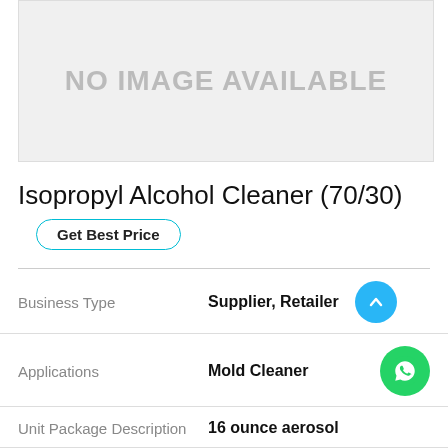[Figure (other): No image available placeholder box with gray background]
Isopropyl Alcohol Cleaner (70/30)
Get Best Price
| Field | Value |
| --- | --- |
| Business Type | Supplier, Retailer |
| Applications | Mold Cleaner |
| Unit Package Description | 16 ounce aerosol |
| Net Weight Fill | 12 net ounces |